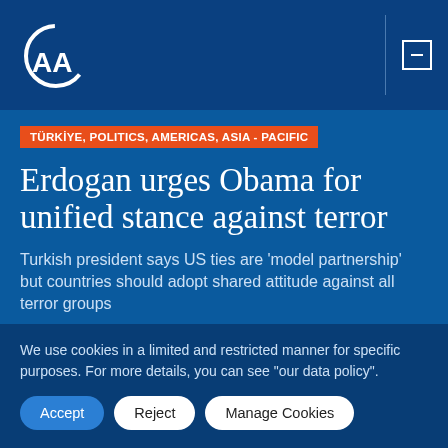AA (Anadolu Agency) logo and navigation header
TÜRKİYE, POLITICS, AMERICAS, ASIA - PACIFIC
Erdogan urges Obama for unified stance against terror
Turkish president says US ties are 'model partnership' but countries should adopt shared attitude against all terror groups
04.09.2016
We use cookies in a limited and restricted manner for specific purposes. For more details, you can see "our data policy".
Accept
Reject
Manage Cookies